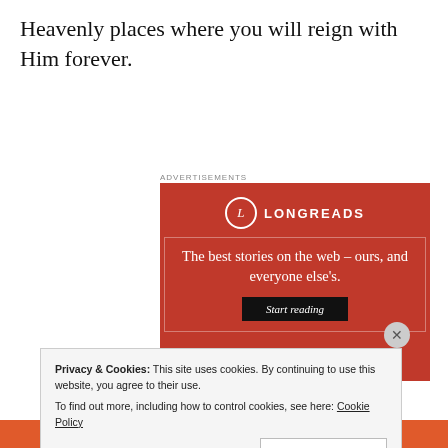Heavenly places where you will reign with Him forever.
[Figure (screenshot): Longreads advertisement banner with red background. Shows Longreads logo with circle L icon, tagline 'The best stories on the web – ours, and everyone else's.' and a 'Start reading' button.]
Privacy & Cookies: This site uses cookies. By continuing to use this website, you agree to their use. To find out more, including how to control cookies, see here: Cookie Policy
Close and accept